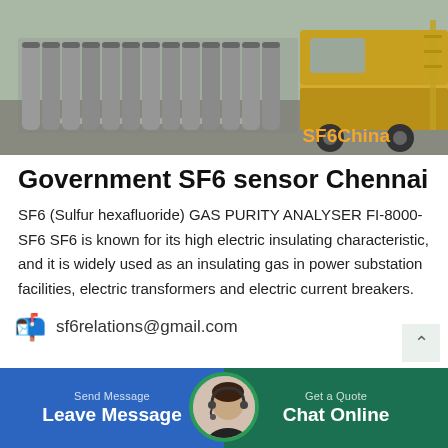[Figure (photo): Photo of grey SF6 gas cylinders stacked outdoors next to a yellow utility truck. Watermark 'SF6China' in orange at bottom right.]
Government SF6 sensor Chennai
SF6 (Sulfur hexafluoride) GAS PURITY ANALYSER FI-8000-SF6 SF6 is known for its high electric insulating characteristic, and it is widely used as an insulating gas in power substation facilities, electric transformers and electric current breakers.
📬  sf6relations@gmail.com
Leave Message   Chat Online